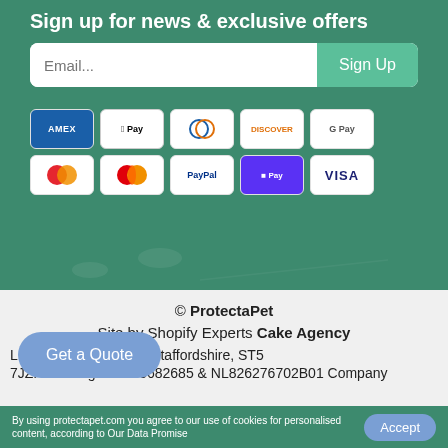Sign up for news & exclusive offers
[Figure (screenshot): Email signup form with input field and Sign Up button]
[Figure (infographic): Payment method icons: Amex, Apple Pay, Diners, Discover, Google Pay, Maestro, Mastercard, PayPal, Shop Pay, Visa]
© ProtectaPet
Site by Shopify Experts Cake Agency
L... rescent, Chesterton, Staffordshire, ST5 7JZ. VAT Reg. GB190682685 & NL826276702B01 Company
By using protectapet.com you agree to our use of cookies for personalised content, according to Our Data Promise